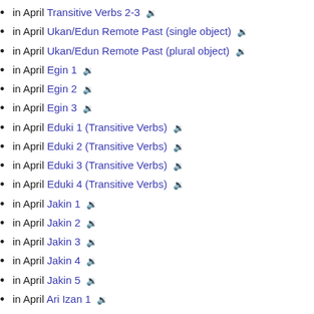in April Transitive Verbs 2-3
in April Ukan/Edun Remote Past (single object)
in April Ukan/Edun Remote Past (plural object)
in April Egin 1
in April Egin 2
in April Egin 3
in April Eduki 1 (Transitive Verbs)
in April Eduki 2 (Transitive Verbs)
in April Eduki 3 (Transitive Verbs)
in April Eduki 4 (Transitive Verbs)
in April Jakin 1
in April Jakin 2
in April Jakin 3
in April Jakin 4
in April Jakin 5
in April Ari Izan 1